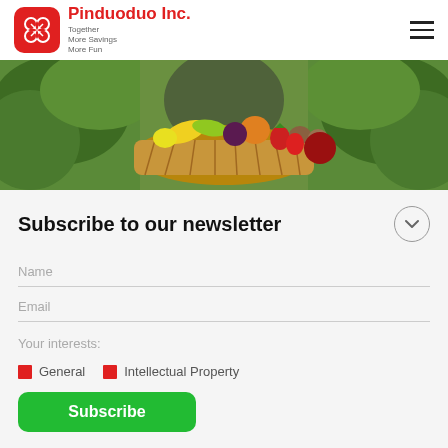Pinduoduo Inc. — Together More Savings More Fun
[Figure (photo): Hero image of a woman holding a wicker basket filled with fresh fruits and vegetables including strawberries, mangoes, bananas, and other produce, surrounded by green foliage.]
Subscribe to our newsletter
Name
Email
Your interests:
General
Intellectual Property
Subscribe